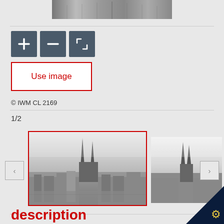[Figure (screenshot): Top strip showing a black and white aerial photograph of a city]
[Figure (infographic): Three dark blue-grey toolbar buttons: plus (+), minus (−), and fullscreen/crop icon]
[Figure (screenshot): Red-bordered white button labeled 'Use image' in red text]
© IWM CL 2169
1/2
[Figure (photo): Black and white aerial photograph of Cologne Cathedral and surrounding bombed-out cityscape, shown selected with red border]
[Figure (photo): Second smaller black and white thumbnail of similar cityscape, unselected]
description